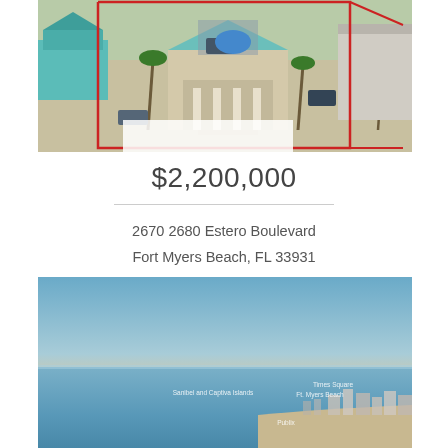[Figure (photo): Aerial drone photograph of a beachside property at 2670-2680 Estero Boulevard, Fort Myers Beach, FL. Shows a house with teal/green roof, red property boundary lines overlaid, parking areas, palm trees, and neighboring buildings including a teal house on the left and a large warehouse-like structure on the right.]
$2,200,000
2670 2680 Estero Boulevard
Fort Myers Beach, FL 33931
[Figure (photo): Aerial panoramic photo of Fort Myers Beach coastline at sunset/dusk. Shows the Gulf of Mexico with calm blue water, sandy shoreline, and distant city buildings. Text labels on the image identify: 'Sanibel and Captiva Islands', 'Times Square', 'Ft. Myers Beach', and 'Publix'.]